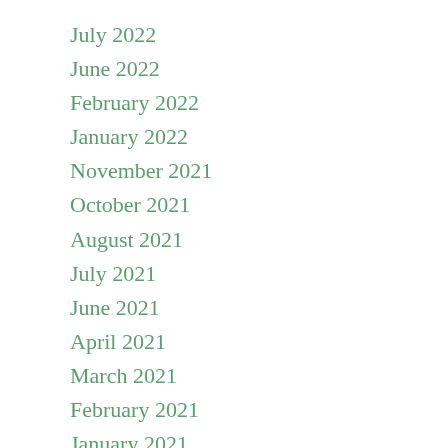July 2022
June 2022
February 2022
January 2022
November 2021
October 2021
August 2021
July 2021
June 2021
April 2021
March 2021
February 2021
January 2021
December 2020
November 2020
October 2020
September 2020
August 2020